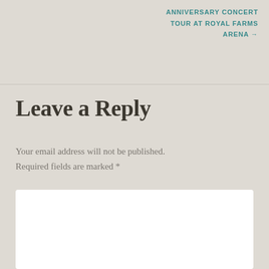ANNIVERSARY CONCERT TOUR AT ROYAL FARMS ARENA →
Leave a Reply
Your email address will not be published. Required fields are marked *